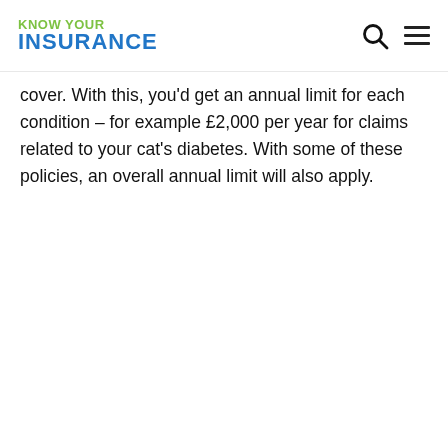KNOW YOUR INSURANCE
cover. With this, you'd get an annual limit for each condition – for example £2,000 per year for claims related to your cat's diabetes. With some of these policies, an overall annual limit will also apply.